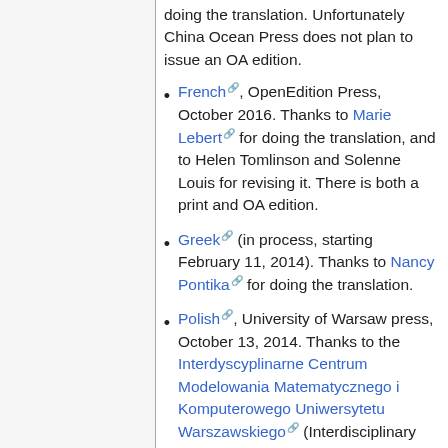doing the translation. Unfortunately China Ocean Press does not plan to issue an OA edition.
French, OpenEdition Press, October 2016. Thanks to Marie Lebert for doing the translation, and to Helen Tomlinson and Solenne Louis for revising it. There is both a print and OA edition.
Greek (in process, starting February 11, 2014). Thanks to Nancy Pontika for doing the translation.
Polish, University of Warsaw press, October 13, 2014. Thanks to the Interdyscyplinarne Centrum Modelowania Matematycznego i Komputerowego Uniwersytetu Warszawskiego (Interdisciplinary Center for Mathematical and Computational Modelling at the